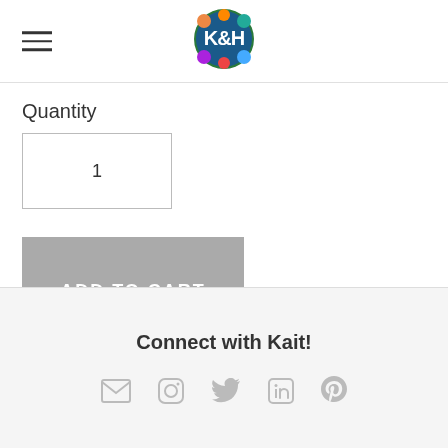KH logo and hamburger menu
Quantity
1
ADD TO CART
Available for shipping
Connect with Kait!
[Figure (other): Social media icons: email, Instagram, Twitter, LinkedIn, Pinterest]